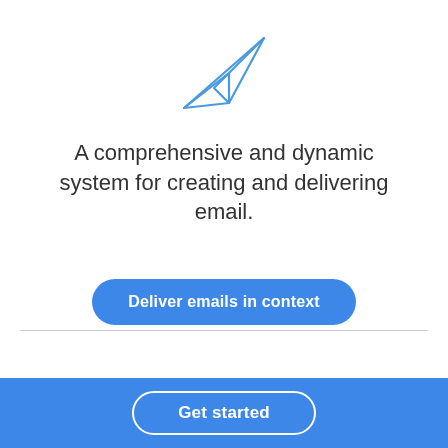[Figure (illustration): Paper airplane icon in blue outline style]
A comprehensive and dynamic system for creating and delivering email.
[Figure (other): Blue rounded button with white text 'Deliver emails in context']
[Figure (other): Blue footer bar with white outlined rounded button 'Get started']